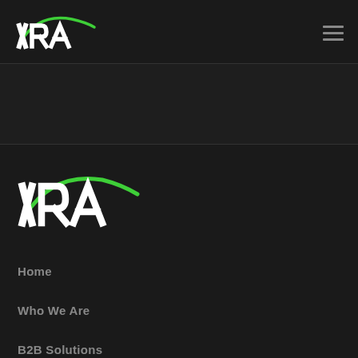[Figure (logo): XRA logo in top navigation bar — white bold text XRA with green swoosh arc, on dark background]
[Figure (other): Hamburger menu icon — three horizontal gray lines, top right of nav bar]
[Figure (logo): XRA logo in sidebar/drawer — larger version, white bold text XRA with green swoosh arc, on dark background]
Home
Who We Are
B2B Solutions
Products